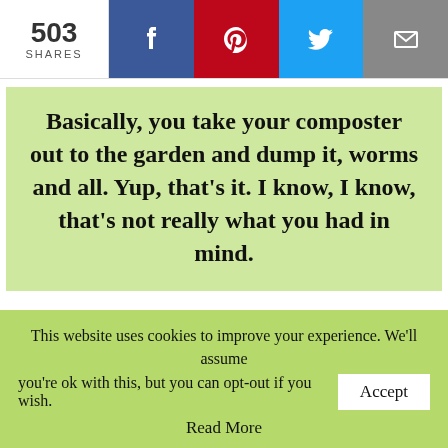503 SHARES
Basically, you take your composter out to the garden and dump it, worms and all. Yup, that's it. I know, I know, that's not really what you had in mind.
Ok, but it is an option. If you're moving into summer like we are and you don't want to deal with your composter in the heat, this is a
This website uses cookies to improve your experience. We'll assume you're ok with this, but you can opt-out if you wish. Accept
Read More